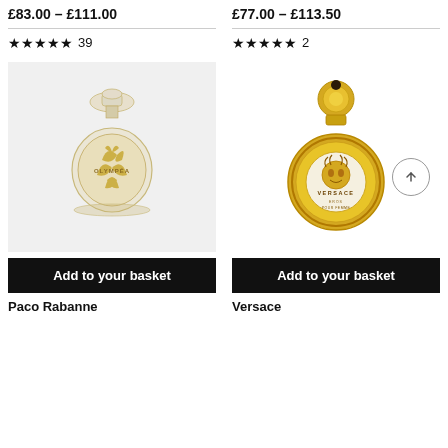£83.00 – £111.00
★★★★★ 39
[Figure (photo): Paco Rabanne Olympéa perfume bottle - round crystal-clear bottle with gold tropical leaf design and crystal cap]
Add to your basket
Paco Rabanne
£77.00 – £113.50
★★★★★ 2
[Figure (photo): Versace Eros Pour Femme perfume bottle - circular gold metallic bottle with Medusa head emblem and round gold cap]
Add to your basket
Versace